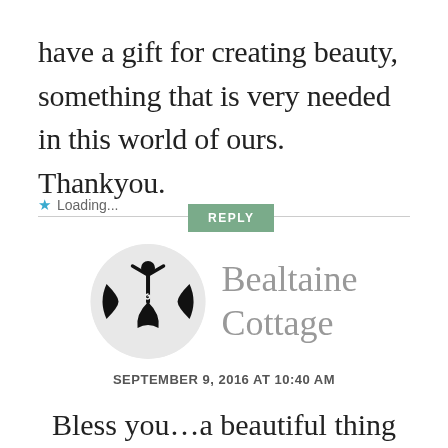have a gift for creating beauty, something that is very needed in this world of ours. Thankyou.
Loading...
[Figure (logo): Circular avatar with a triple goddess / moon goddess symbol — a stylized female figure with crescent moons on either side, black on light gray background]
Bealtaine Cottage
SEPTEMBER 9, 2016 AT 10:40 AM
Bless you...a beautiful thing to